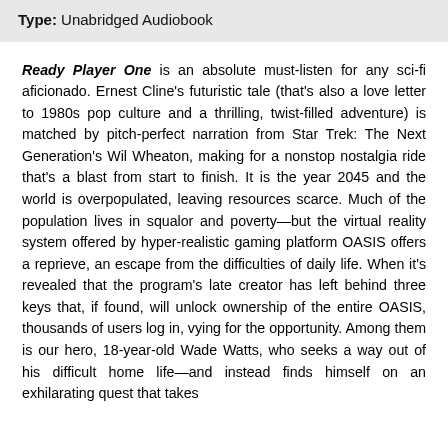Type: Unabridged Audiobook
Ready Player One is an absolute must-listen for any sci-fi aficionado. Ernest Cline's futuristic tale (that's also a love letter to 1980s pop culture and a thrilling, twist-filled adventure) is matched by pitch-perfect narration from Star Trek: The Next Generation's Wil Wheaton, making for a nonstop nostalgia ride that's a blast from start to finish. It is the year 2045 and the world is overpopulated, leaving resources scarce. Much of the population lives in squalor and poverty—but the virtual reality system offered by hyper-realistic gaming platform OASIS offers a reprieve, an escape from the difficulties of daily life. When it's revealed that the program's late creator has left behind three keys that, if found, will unlock ownership of the entire OASIS, thousands of users log in, vying for the opportunity. Among them is our hero, 18-year-old Wade Watts, who seeks a way out of his difficult home life—and instead finds himself on an exhilarating quest that takes